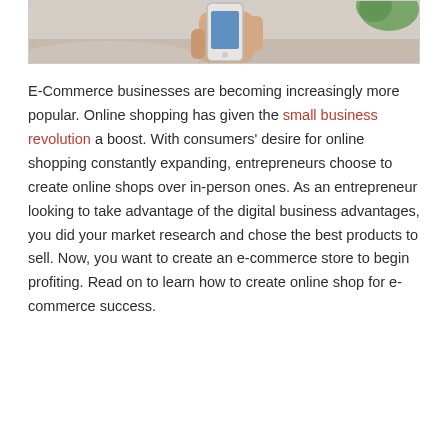[Figure (photo): A hand holding a smartphone with a blank/blue screen, on a white table with a green plant in the background.]
E-Commerce businesses are becoming increasingly more popular. Online shopping has given the small business revolution a boost. With consumers' desire for online shopping constantly expanding, entrepreneurs choose to create online shops over in-person ones. As an entrepreneur looking to take advantage of the digital business advantages, you did your market research and chose the best products to sell. Now, you want to create an e-commerce store to begin profiting. Read on to learn how to create online shop for e-commerce success.